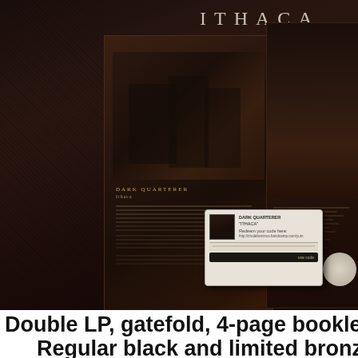[Figure (photo): Album artwork gatefold for 'Ithaca' by Dark Quarterer, showing band photo on left panel and tracklist/artwork on right panel, with a Bandcamp download code popup overlay and a circular navigation button]
Double LP, gatefold, 4-page booklet, 2 bonus t
Regular black and limited bronze ed
[Figure (illustration): Dark circular upload/arrow button icon at bottom left]